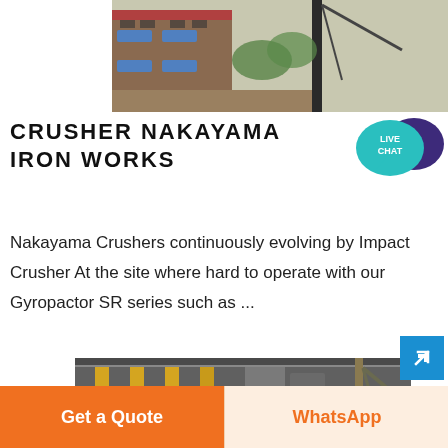[Figure (photo): Industrial crusher or construction site building exterior with blue awnings and heavy equipment visible]
CRUSHER NAKAYAMA IRON WORKS
[Figure (illustration): Live Chat speech bubble badge icon with teal/purple colors]
Nakayama Crushers continuously evolving by Impact Crusher At the site where hard to operate with our Gyropactor SR series such as ...
[Figure (photo): Industrial crusher facility with yellow columns, silos, heavy machinery and crane visible]
Get a Quote
WhatsApp